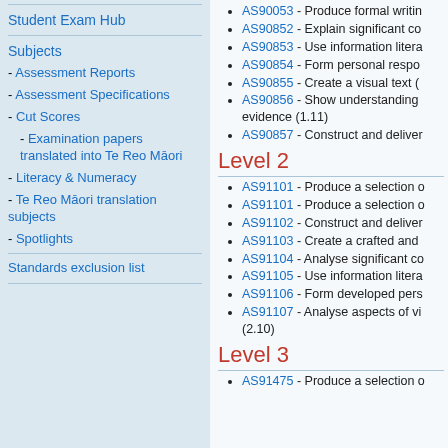Student Exam Hub
Subjects
- Assessment Reports
- Assessment Specifications
- Cut Scores
- Examination papers translated into Te Reo Māori
- Literacy & Numeracy
- Te Reo Māori translation subjects
- Spotlights
Standards exclusion list
AS90053 - Produce formal writin…
AS90852 - Explain significant co…
AS90853 - Use information litera…
AS90854 - Form personal respo…
AS90855 - Create a visual text (…
AS90856 - Show understanding … evidence (1.11)
AS90857 - Construct and deliver…
Level 2
AS91101 - Produce a selection o…
AS91101 - Produce a selection o…
AS91102 - Construct and deliver…
AS91103 - Create a crafted and …
AS91104 - Analyse significant co…
AS91105 - Use information litera…
AS91106 - Form developed pers…
AS91107 - Analyse aspects of vi… (2.10)
Level 3
AS91475 - Produce a selection o…